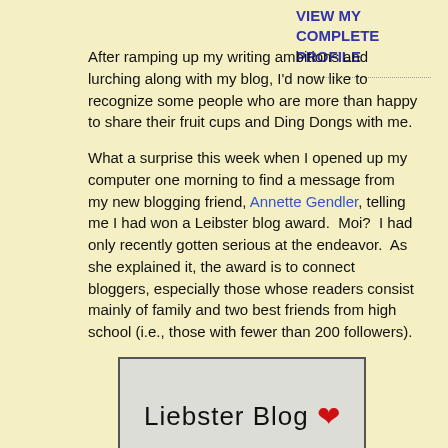VIEW MY COMPLETE PROFILE
After ramping up my writing ambitions and lurching along with my blog, I'd now like to recognize some people who are more than happy to share their fruit cups and Ding Dongs with me.
What a surprise this week when I opened up my computer one morning to find a message from my new blogging friend, Annette Gendler, telling me I had won a Leibster blog award.  Moi?  I had only recently gotten serious at the endeavor.  As she explained it, the award is to connect bloggers, especially those whose readers consist mainly of family and two best friends from high school (i.e., those with fewer than 200 followers).
[Figure (illustration): Liebster Blog award image showing the text 'Liebster Blog' with a red heart on a light gray background with a dark border]
If I accept the award, she told me, I